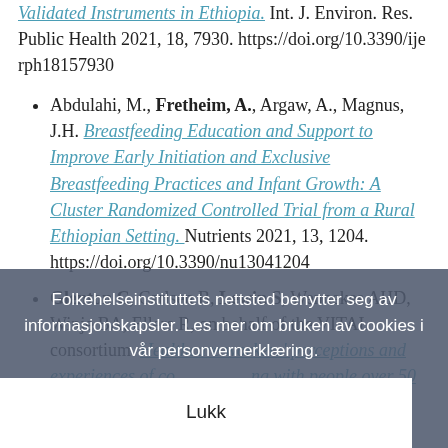Validated Instruments in Ethiopia. Int. J. Environ. Res. Public Health 2021, 18, 7930. https://doi.org/10.3390/ijerph18157930
Abdulahi, M., Fretheim, A., Argaw, A., Magnus, J.H. Breastfeeding Education and Support to Improve Early Initiation and Exclusive Breastfeeding Practices and Infant Growth: A Cluster Randomized Controlled Trial from a Rural Ethiopian Setting. Nutrients 2021, 13, 1204. https://doi.org/10.3390/nu13041204
Glenton C, Carlsen B, Lewin S, Wennekes AHD, Winje BA, Ellers R, on behalf of the VITAL consortium. Healthcare workers' perceptions and experiences of communicating with people over 50 years of age about vaccination: a qualitative evidence synthesis. Cochrane Database of...